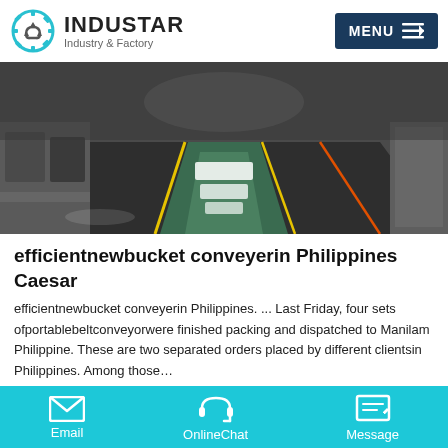INDUSTAR Industry & Factory
[Figure (photo): Industrial factory floor with green-painted lanes, yellow and orange lines on dark floor, machinery visible on left and pillars on right]
efficientnewbucket conveyerin Philippines Caesar
efficientnewbucket conveyerin Philippines. ... Last Friday, four sets ofportablebeltconveyorwere finished packing and dispatched to Manilam Philippine. These are two separated orders placed by different clientsin Philippines. Among those…
Online Chat | Email | OnlineChat | Message